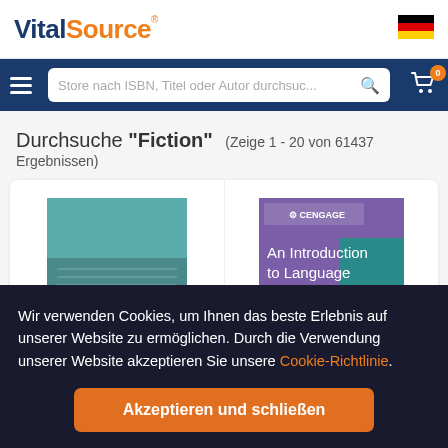[Figure (logo): VitalSource logo with 'Vital' in dark blue and 'Source' in orange, with registered trademark symbol]
[Figure (illustration): German flag icon in top right corner]
[Figure (screenshot): Navigation bar with hamburger menu, search box 'Store nach ISBN, Titel oder Autor durchsuc...' with search icon, and cart icon with badge '0']
Durchsuche "Fiction" (Zeige 1 - 20 von 61437 Ergebnissen)
[Figure (illustration): Book cover of 'The Great Gatsby' with teal/blue-green color scheme and cursive script]
[Figure (illustration): Book cover of 'An Introduction to Language' published by Cengage, with purple and teal colors]
Wir verwenden Cookies, um Ihnen das beste Erlebnis auf unserer Website zu ermöglichen. Durch die Verwendung unserer Website akzeptieren Sie unsere Cookie-Richtlinie.
Akzeptieren und schließen